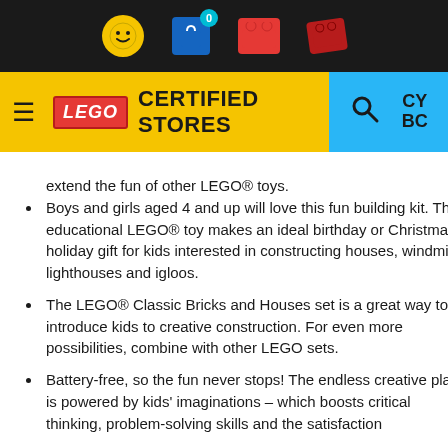[Figure (screenshot): LEGO Certified Stores website header with black top bar containing icons (smiley face, shopping bag with 0 badge, red LEGO bricks), and yellow/blue navigation bar with hamburger menu, LEGO logo, CERTIFIED STORES text, search icon, and CY BC text]
extend the fun of other LEGO® toys.
Boys and girls aged 4 and up will love this fun building kit. This educational LEGO® toy makes an ideal birthday or Christmas holiday gift for kids interested in constructing houses, windmills, lighthouses and igloos.
The LEGO® Classic Bricks and Houses set is a great way to introduce kids to creative construction. For even more possibilities, combine with other LEGO sets.
Battery-free, so the fun never stops! The endless creative play is powered by kids' imaginations – which boosts critical thinking, problem-solving skills and the satisfaction